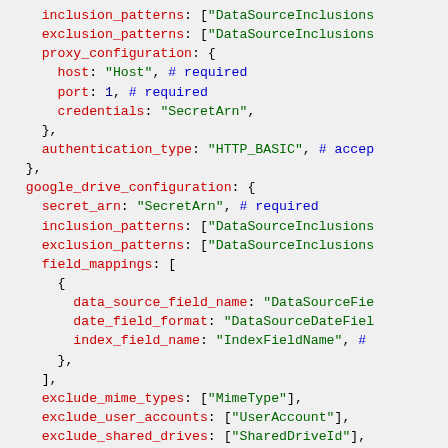Code snippet showing YAML/JSON configuration with inclusion_patterns, exclusion_patterns, proxy_configuration, authentication_type, google_drive_configuration, field_mappings, and web_crawler_configuration blocks.